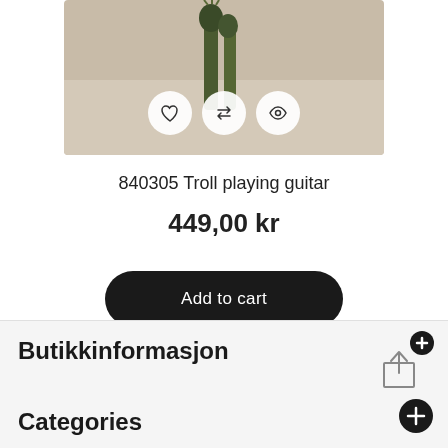[Figure (photo): Product image of a troll figurine playing guitar, with three circular icon buttons overlaid (heart/wishlist, compare arrows, and eye/view icons). Beige/grey textured background.]
840305 Troll playing guitar
449,00 kr
Add to cart
Butikkinformasjon
Categories